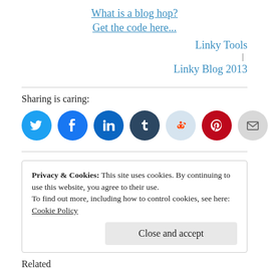What is a blog hop?
Get the code here...
Linky Tools | Linky Blog 2013
Sharing is caring:
[Figure (infographic): Row of 8 social sharing icons: Twitter (blue), Facebook (blue), LinkedIn (dark blue), Tumblr (dark navy), Reddit (light blue), Pinterest (red), Email (gray), WhatsApp (green)]
Privacy & Cookies: This site uses cookies. By continuing to use this website, you agree to their use.
To find out more, including how to control cookies, see here:
Cookie Policy
Close and accept
Related